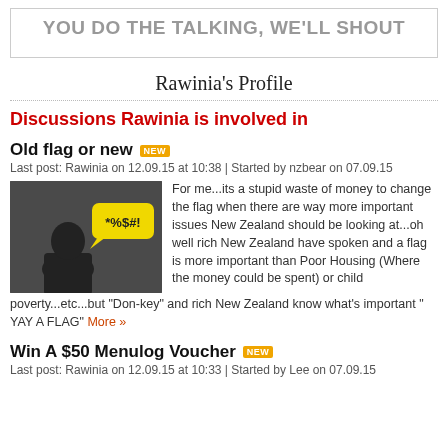YOU DO THE TALKING, WE'LL SHOUT
Rawinia's Profile
Discussions Rawinia is involved in
Old flag or new
Last post: Rawinia on 12.09.15 at 10:38 | Started by nzbear on 07.09.15
[Figure (illustration): Dark silhouette of a person with a yellow speech bubble containing '*%$#!']
For me...its a stupid waste of money to change the flag when there are way more important issues New Zealand should be looking at...oh well rich New Zealand have spoken and a flag is more important than Poor Housing (Where the money could be spent) or child poverty...etc...but "Don-key" and rich New Zealand know what's important " YAY A FLAG" More »
Win A $50 Menulog Voucher
Last post: Rawinia on 12.09.15 at 10:33 | Started by Lee on 07.09.15